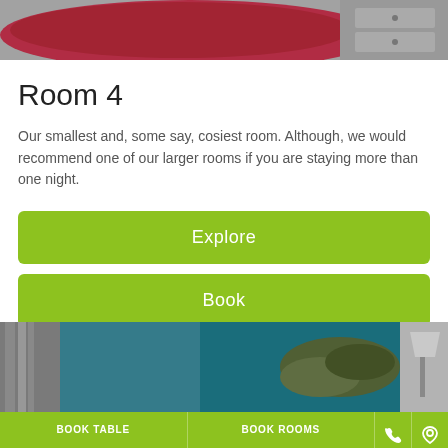[Figure (photo): Top partial image of a room with red/pink bedding and grey storage unit visible]
Room 4
Our smallest and, some say, cosiest room. Although, we would recommend one of our larger rooms if you are staying more than one night.
Explore
Book
[Figure (infographic): Two dark brown circular amenity icons: shower/tap icon and coffee cup icon]
[Figure (photo): Bottom partial image of a room with teal/blue walls and curtains, lamp visible on right]
BOOK TABLE | BOOK ROOMS | phone icon | location icon